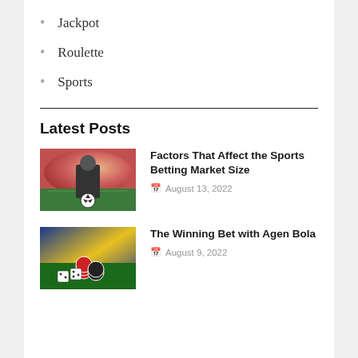Jackpot
Roulette
Sports
Latest Posts
[Figure (photo): Person in suit with soccer ball in front of stadium]
Factors That Affect the Sports Betting Market Size
August 13, 2022
[Figure (photo): Casino chips and dice on green table with colorful background]
The Winning Bet with Agen Bola
August 9, 2022